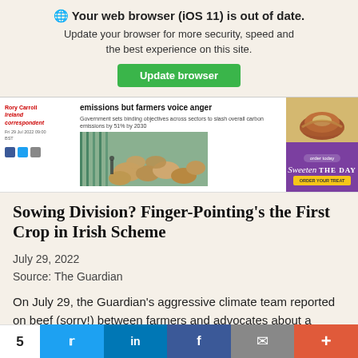Your web browser (iOS 11) is out of date. Update your browser for more security, speed and the best experience on this site.
[Figure (screenshot): Article preview showing headline 'emissions but farmers voice anger' with cattle image and an advertisement showing 'Sweeten THE DAY']
Sowing Division? Finger-Pointing's the First Crop in Irish Scheme
July 29, 2022
Source: The Guardian
On July 29, the Guardian's aggressive climate team reported on beef (sorry!) between farmers and advocates about a round of policies aiming to
5  [Twitter] [in] [f] [mail] [+]